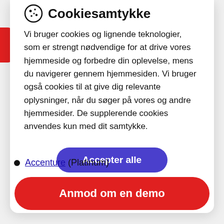Cookiesamtykke
Vi bruger cookies og lignende teknologier, som er strengt nødvendige for at drive vores hjemmeside og forbedre din oplevelse, mens du navigerer gennem hjemmesiden. Vi bruger også cookies til at give dig relevante oplysninger, når du søger på vores og andre hjemmesider. De supplerende cookies anvendes kun med dit samtykke.
Accepter alle
Tilpas
Accenture (Platinum)
Anmod om en demo